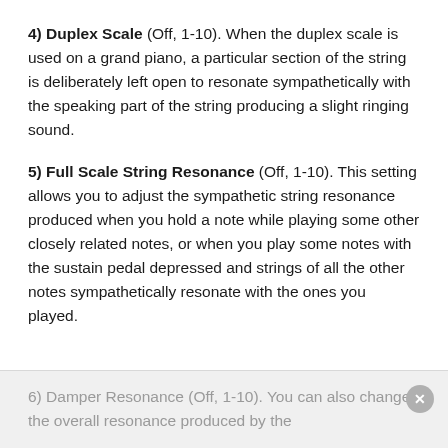4) Duplex Scale (Off, 1-10). When the duplex scale is used on a grand piano, a particular section of the string is deliberately left open to resonate sympathetically with the speaking part of the string producing a slight ringing sound.
5) Full Scale String Resonance (Off, 1-10). This setting allows you to adjust the sympathetic string resonance produced when you hold a note while playing some other closely related notes, or when you play some notes with the sustain pedal depressed and strings of all the other notes sympathetically resonate with the ones you played.
6) Damper Resonance (Off, 1-10). You can also change the overall resonance produced by the